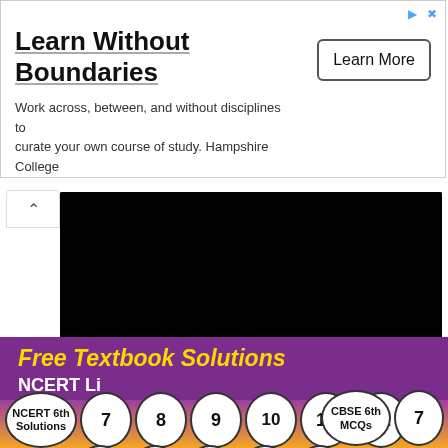[Figure (screenshot): Advertisement banner for Hampshire College with 'Learn Without Boundaries' headline, subtitle text, and 'Learn More' button]
[Figure (screenshot): Video player with black screen, play button, progress bar showing 00:00 / 02:30, and fullscreen button]
Free Textbook Solutions
NCERT Like...
[Figure (screenshot): Navigation circles: NCERT 6th Solutions, 7, 8, 9, 10, 11, 12, CBSE 6th MCQs, 7 (top row); 8, 9, 10, 11, 12 (bottom row)]